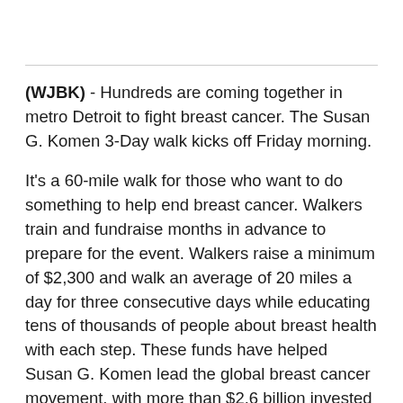(WJBK) - Hundreds are coming together in metro Detroit to fight breast cancer. The Susan G. Komen 3-Day walk kicks off Friday morning.
It's a 60-mile walk for those who want to do something to help end breast cancer. Walkers train and fundraise months in advance to prepare for the event. Walkers raise a minimum of $2,300 and walk an average of 20 miles a day for three consecutive days while educating tens of thousands of people about breast health with each step. These funds have helped Susan G. Komen lead the global breast cancer movement, with more than $2.6 billion invested in the fight against breast